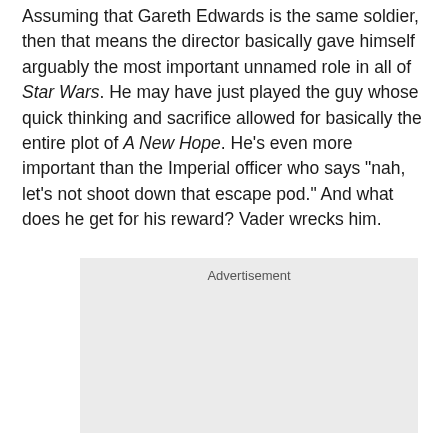Assuming that Gareth Edwards is the same soldier, then that means the director basically gave himself arguably the most important unnamed role in all of Star Wars. He may have just played the guy whose quick thinking and sacrifice allowed for basically the entire plot of A New Hope. He's even more important than the Imperial officer who says "nah, let's not shoot down that escape pod." And what does he get for his reward? Vader wrecks him.
[Figure (other): Advertisement placeholder box with gray background]